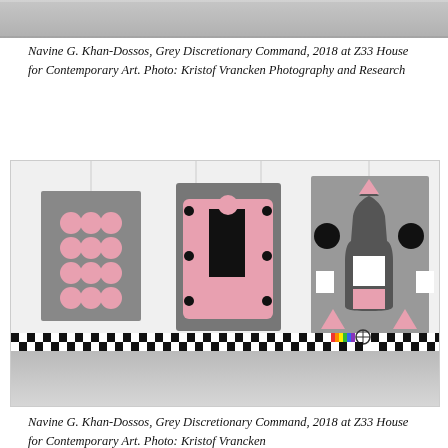[Figure (photo): Top portion of artwork installation photograph, cropped to a narrow strip showing the upper part of the gallery installation.]
Navine G. Khan-Dossos, Grey Discretionary Command, 2018 at Z33 House for Contemporary Art. Photo: Kristof Vrancken Photography and Research
[Figure (photo): Gallery installation photo showing three large artworks by Navine G. Khan-Dossos. Left panel: grey with pink circular dot grid pattern. Center panel: grey with pink background and large black rectangle plus small black dots. Right panel: grey background with dark grey bottle/target silhouette, black circles, white squares, pink triangles, and pink square. A black and white checkered strip with a small color swatch runs horizontally across the lower portion of the image. Bottom section shows the grey gallery floor.]
Navine G. Khan-Dossos, Grey Discretionary Command, 2018 at Z33 House for Contemporary Art. Photo: Kristof Vrancken